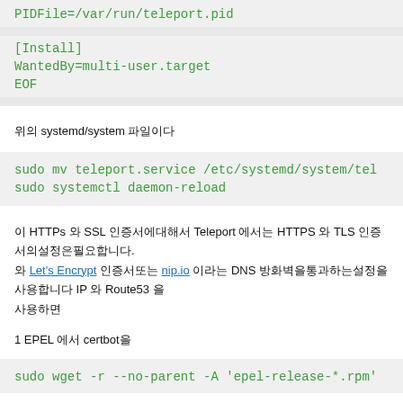PIDFile=/var/run/teleport.pid
[Install]
WantedBy=multi-user.target
EOF
위의 systemd/system 파일이다
sudo mv teleport.service /etc/systemd/system/tel
sudo systemctl daemon-reload
이 HTTPs 와 SSL 인증서에대해서 Teleport 에서는 HTTPS 와 TLS 인증서의설정은필요합니다. Let's Encrypt 인증서또는 nip.io 이라는 DNS 방화벽을통과하는설정을사용합 IP 와 Route53 을 사용하면
1 EPEL 에서 certbot을
sudo wget -r --no-parent -A 'epel-release-*.rpm'